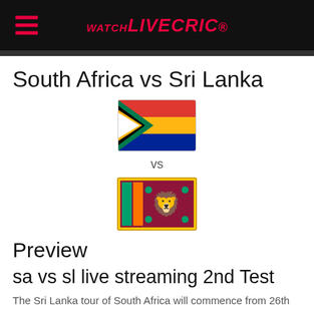WATCH LIVECRIC
South Africa vs Sri Lanka
[Figure (illustration): South Africa flag followed by 'vs' text and Sri Lanka flag, displayed vertically]
Preview
sa vs sl live streaming 2nd Test
The Sri Lanka tour of South Africa will commence from 26th